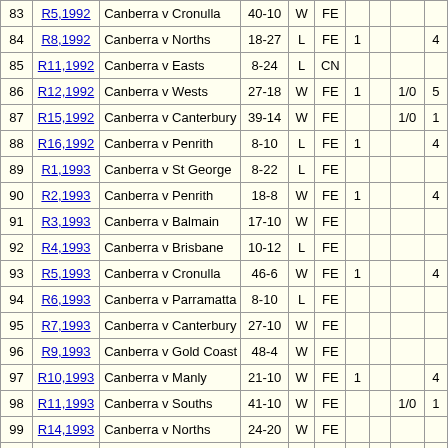| # | Ref | Match | Score | W/L | Comp |  |  |  |  |
| --- | --- | --- | --- | --- | --- | --- | --- | --- | --- |
| 83 | R5,1992 | Canberra v Cronulla | 40-10 | W | FE |  |  |  |  |
| 84 | R8,1992 | Canberra v Norths | 18-27 | L | FE | 1 |  |  | 4 |
| 85 | R11,1992 | Canberra v Easts | 8-24 | L | CN |  |  |  |  |
| 86 | R12,1992 | Canberra v Wests | 27-18 | W | FE | 1 |  | 1/0 | 5 |
| 87 | R15,1992 | Canberra v Canterbury | 39-14 | W | FE |  |  | 1/0 | 1 |
| 88 | R16,1992 | Canberra v Penrith | 8-10 | L | FE | 1 |  |  | 4 |
| 89 | R1,1993 | Canberra v St George | 8-22 | L | FE |  |  |  |  |
| 90 | R2,1993 | Canberra v Penrith | 18-8 | W | FE | 1 |  |  | 4 |
| 91 | R3,1993 | Canberra v Balmain | 17-10 | W | FE |  |  |  |  |
| 92 | R4,1993 | Canberra v Brisbane | 10-12 | L | FE |  |  |  |  |
| 93 | R5,1993 | Canberra v Cronulla | 46-6 | W | FE | 1 |  |  | 4 |
| 94 | R6,1993 | Canberra v Parramatta | 8-10 | L | FE |  |  |  |  |
| 95 | R7,1993 | Canberra v Canterbury | 27-10 | W | FE |  |  |  |  |
| 96 | R9,1993 | Canberra v Gold Coast | 48-4 | W | FE |  |  |  |  |
| 97 | R10,1993 | Canberra v Manly | 21-10 | W | FE | 1 |  |  | 4 |
| 98 | R11,1993 | Canberra v Souths | 41-10 | W | FE |  |  | 1/0 | 1 |
| 99 | R14,1993 | Canberra v Norths | 24-20 | W | FE |  |  |  |  |
| 100 | R15,1993 | Canberra v Wests | 38-2 | W | FE |  |  |  |  |
| 101 | R16,1993 | Canberra v St George | 30-2 | W | FE |  |  |  |  |
| 102 | R17,1993 | Canberra v Penrith | 16-10 | W | FE |  |  |  |  |
| 103 | R18,1993 | Canberra v Balmain | 32-32 | D | FE |  |  |  |  |
| 104 | R19,1993 | Canberra v Brisbane | 20-4 | W | FE | 1 |  |  | 4 |